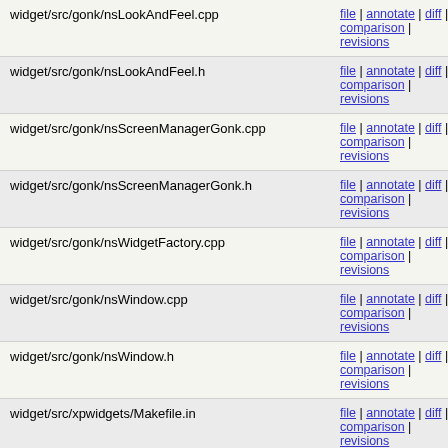| File | Links |
| --- | --- |
| widget/src/gonk/nsLookAndFeel.cpp | file | annotate | diff | comparison | revisions |
| widget/src/gonk/nsLookAndFeel.h | file | annotate | diff | comparison | revisions |
| widget/src/gonk/nsScreenManagerGonk.cpp | file | annotate | diff | comparison | revisions |
| widget/src/gonk/nsScreenManagerGonk.h | file | annotate | diff | comparison | revisions |
| widget/src/gonk/nsWidgetFactory.cpp | file | annotate | diff | comparison | revisions |
| widget/src/gonk/nsWindow.cpp | file | annotate | diff | comparison | revisions |
| widget/src/gonk/nsWindow.h | file | annotate | diff | comparison | revisions |
| widget/src/xpwidgets/Makefile.in | file | annotate | diff | comparison | revisions |
| xpcom/base/nsSystemInfo.cpp | file | annotate | diff | comparison | revisions |
| xpcom/components/ManifestParser.cpp | file | annotate | diff | comparison | revisions |
| xpcom/io/nsLocalFileUnix.cpp | file | annotate | diff | comparison | revisions |
1.1    --- a/Makefile.in